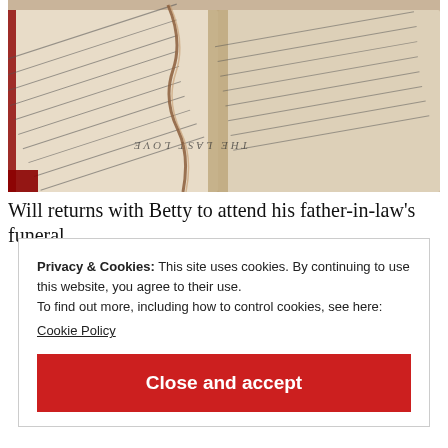[Figure (photo): Close-up photograph of an open old book with yellowed pages, showing text including 'THE LAST LOVE', with a crack or tear visible across the pages. The book appears aged and is photographed at an angle.]
Will returns with Betty to attend his father-in-law's funeral
Privacy & Cookies: This site uses cookies. By continuing to use this website, you agree to their use.
To find out more, including how to control cookies, see here:
Cookie Policy
Close and accept